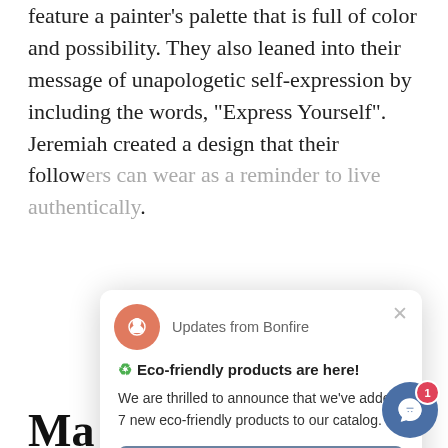feature a painter's palette that is full of color and possibility. They also leaned into their message of unapologetic self-expression by including the words, "Express Yourself". Jeremiah created a design that their follow... ...to live authentically.
Ma[rleigh]
@they...
[Figure (screenshot): A web notification popup/modal from Bonfire. Header shows salmon/orange circle icon with a leaf/bonfire logo and text 'Updates from Bonfire' with an X close button. Body contains recycling emoji and bold text 'Eco-friendly products are here!' followed by 'We are thrilled to announce that we've added 7 new eco-friendly products to our catalog.' and a blue-grey button 'Start selling eco-friendly merch'.]
Chris[topher] center[ed around] ...g drinks and saying silly toddler things – with an emphasis on her catchphrases, "Just send it" and "Yeet!" C[hris] started featuring Marleigh on his personal Instag[ram] account and then soon realized she needed her own due